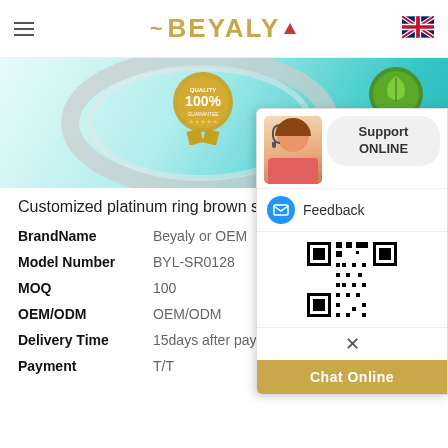[Figure (logo): BEYALY brand logo with golden text, wing decoration, red triangle, and hamburger menu icon on the left]
[Figure (photo): Banner image showing platinum rings with quality 100% guarantee badge and green 100% natural badge on teal/white background]
Customized platinum ring brown sets for daily li...
| Attribute | Value |
| --- | --- |
| BrandName | Beyaly or OEM |
| Model Number | BYL-SR0128 |
| MOQ | 100 |
| OEM/ODM | OEM/ODM |
| Delivery Time | 15days after payment received |
| Payment | T/T |
[Figure (screenshot): Support Online chat widget overlay with customer support agent photo, Feedback option with mail icon, QR code, close button, and Chat Online button]